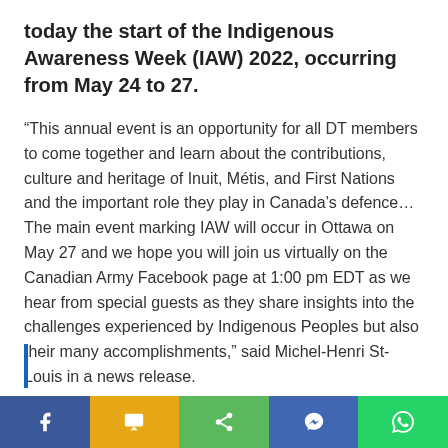today the start of the Indigenous Awareness Week (IAW) 2022, occurring from May 24 to 27.
“This annual event is an opportunity for all DT members to come together and learn about the contributions, culture and heritage of Inuit, Métis, and First Nations and the important role they play in Canada’s defence…The main event marking IAW will occur in Ottawa on May 27 and we hope you will join us virtually on the Canadian Army Facebook page at 1:00 pm EDT as we hear from special guests as they share insights into the challenges experienced by Indigenous Peoples but also their many accomplishments,” said Michel-Henri St-Louis in a news release.